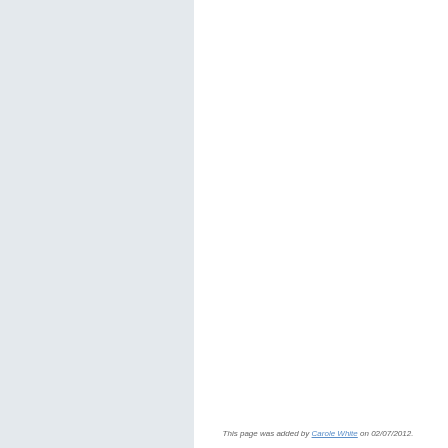This page was added by Carole White on 02/07/2012.